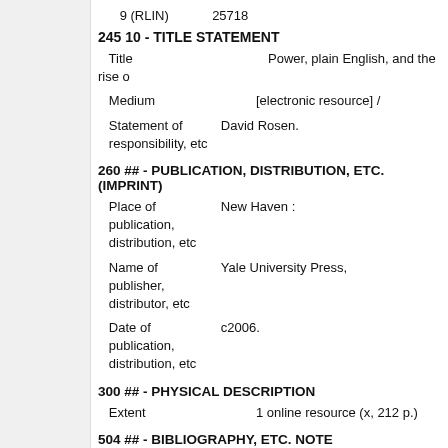9 (RLIN)    25718
245 10 - TITLE STATEMENT
Title    Power, plain English, and the rise o
Medium    [electronic resource] /
Statement of responsibility, etc    David Rosen.
260 ## - PUBLICATION, DISTRIBUTION, ETC. (IMPRINT)
Place of publication, distribution, etc    New Haven :
Name of publisher, distributor, etc    Yale University Press,
Date of publication, distribution, etc    c2006.
300 ## - PHYSICAL DESCRIPTION
Extent    1 online resource (x, 212 p.)
504 ## - BIBLIOGRAPHY, ETC. NOTE
Bibliography    Includes bibliographical references